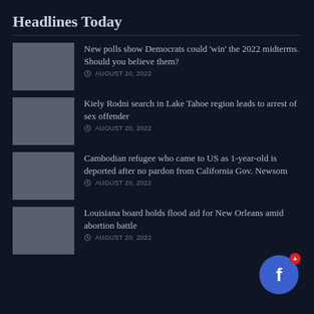Headlines Today
New polls show Democrats could 'win' the 2022 midterms. Should you believe them? AUGUST 20, 2022
Kiely Rodni search in Lake Tahoe region leads to arrest of sex offender AUGUST 20, 2022
Cambodian refugee who came to US as 1-year-old is deported after no pardon from California Gov. Newsom AUGUST 20, 2022
Louisiana board holds flood aid for New Orleans amid abortion battle AUGUST 20, 2022